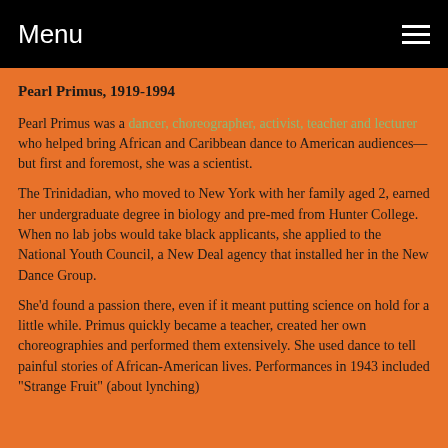Menu
Pearl Primus, 1919-1994
Pearl Primus was a dancer, choreographer, activist, teacher and lecturer who helped bring African and Caribbean dance to American audiences—but first and foremost, she was a scientist.
The Trinidadian, who moved to New York with her family aged 2, earned her undergraduate degree in biology and pre-med from Hunter College. When no lab jobs would take black applicants, she applied to the National Youth Council, a New Deal agency that installed her in the New Dance Group.
She'd found a passion there, even if it meant putting science on hold for a little while. Primus quickly became a teacher, created her own choreographies and performed them extensively. She used dance to tell painful stories of African-American lives. Performances in 1943 included "Strange Fruit" (about lynching)